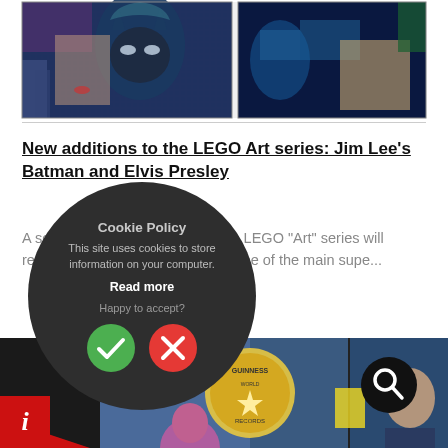[Figure (photo): Two LEGO Art mosaic panels side by side: left panel shows Batman and Elvis Presley pixel art mosaic, right panel shows a DC villain character mosaic]
New additions to the LEGO Art series: Jim Lee's Batman and Elvis Presley
A series of new offerings from the LEGO "Art" series will rec... in 2022. One of the main supe...
[Figure (screenshot): Cookie Policy popup overlay - dark circular modal with text 'Cookie Policy', 'This site uses cookies to store information on your computer.', 'Read more', 'Happy to accept?' and green checkmark and red X buttons]
[Figure (photo): Bottom photo showing people at what appears to be a Guinness World Records event, with a woman on the right and a Guinness World Records logo visible]
[Figure (logo): Black circular logo/icon in bottom right]
[Figure (infographic): Red info badge with italic 'i' in bottom left corner]